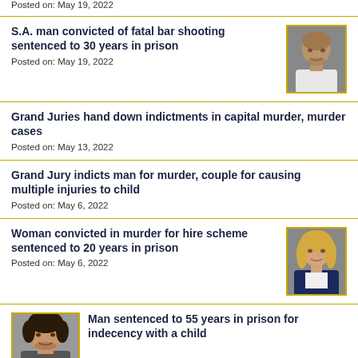Posted on: May 19, 2022
S.A. man convicted of fatal bar shooting sentenced to 30 years in prison
Posted on: May 19, 2022
Grand Juries hand down indictments in capital murder, murder cases
Posted on: May 13, 2022
Grand Jury indicts man for murder, couple for causing multiple injuries to child
Posted on: May 6, 2022
Woman convicted in murder for hire scheme sentenced to 20 years in prison
Posted on: May 6, 2022
Man sentenced to 55 years in prison for indecency with a child